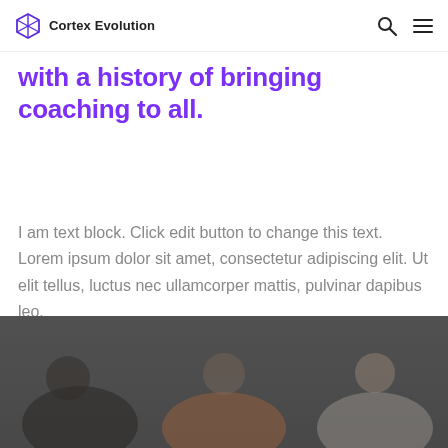Cortex Evolution
with a history of bringing coaching to all.
I am text block. Click edit button to change this text. Lorem ipsum dolor sit amet, consectetur adipiscing elit. Ut elit tellus, luctus nec ullamcorper mattis, pulvinar dapibus leo.
[Figure (photo): Three people sitting together, two men and a woman, against a blurred outdoor background. Photo has a dark overlay.]